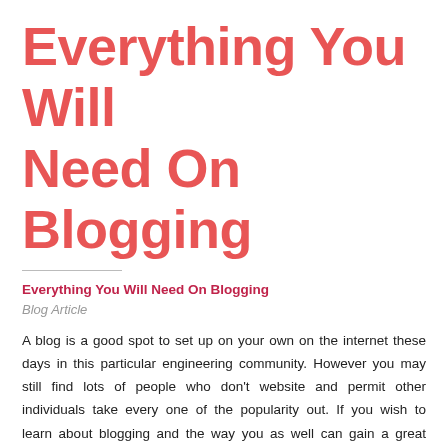Everything You Will Need On Blogging
Everything You Will Need On Blogging
Blog Article
A blog is a good spot to set up on your own on the internet these days in this particular engineering community. However you may still find lots of people who don't website and permit other individuals take every one of the popularity out. If you wish to learn about blogging and the way you as well can gain a great deal of followers then this post is for you personally.